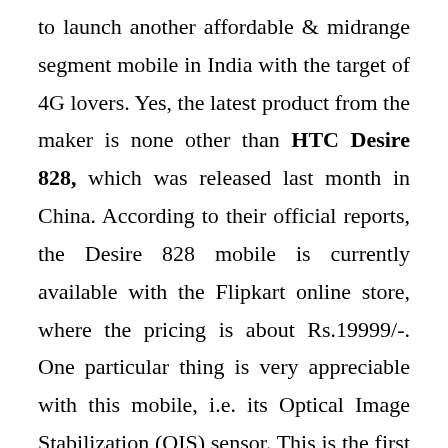to launch another affordable & midrange segment mobile in India with the target of 4G lovers. Yes, the latest product from the maker is none other than HTC Desire 828, which was released last month in China. According to their official reports, the Desire 828 mobile is currently available with the Flipkart online store, where the pricing is about Rs.19999/-. One particular thing is very appreciable with this mobile, i.e. its Optical Image Stabilization (OIS) sensor. This is the first mobile from this Taiwanese Company to have that feature in the Desire series. This device is heatedly announced